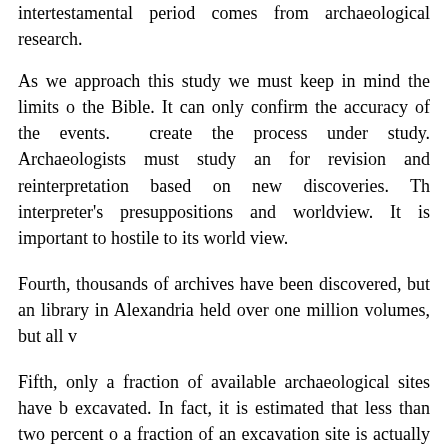intertestamental period comes from archaeological research.
As we approach this study we must keep in mind the limits of the Bible. It can only confirm the accuracy of the events. create the process under study. Archaeologists must study and for revision and reinterpretation based on new discoveries. The interpreter's presuppositions and worldview. It is important to hostile to its world view.
Fourth, thousands of archives have been discovered, but an library in Alexandria held over one million volumes, but all v
Fifth, only a fraction of available archaeological sites have been excavated. In fact, it is estimated that less than two percent of a fraction of an excavation site is actually examined, and on the photographs of the Dead Sea Scrolls were withheld from
It is important to understand that the Scriptures remain the p